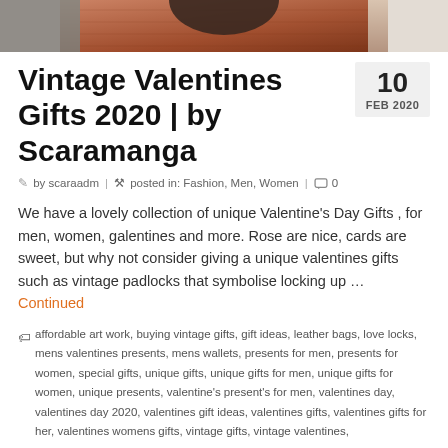[Figure (photo): Partial top of a vintage brown leather bag or suitcase, reddish-brown texture, cropped at top of page]
Vintage Valentines Gifts 2020 | by Scaramanga
10 FEB 2020
by scaraadm | posted in: Fashion, Men, Women | 0
We have a lovely collection of unique Valentine's Day Gifts , for men, women, galentines and more. Rose are nice, cards are sweet, but why not consider giving a unique valentines gifts such as vintage padlocks that symbolise locking up … Continued
affordable art work, buying vintage gifts, gift ideas, leather bags, love locks, mens valentines presents, mens wallets, presents for men, presents for women, special gifts, unique gifts, unique gifts for men, unique gifts for women, unique presents, valentine's present's for men, valentines day, valentines day 2020, valentines gift ideas, valentines gifts, valentines gifts for her, valentines womens gifts, vintage gifts, vintage valentines,